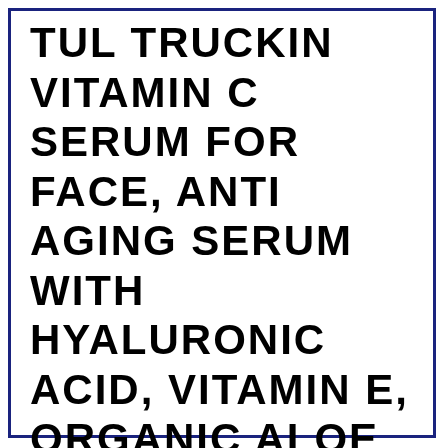TUL TRUCKIN VITAMIN C SERUM FOR FACE, ANTI AGING SERUM WITH HYALURONIC ACID, VITAMIN E, ORGANIC ALOE VERA AND JOJOBA OIL, HYDRATING & BRIGHTENING